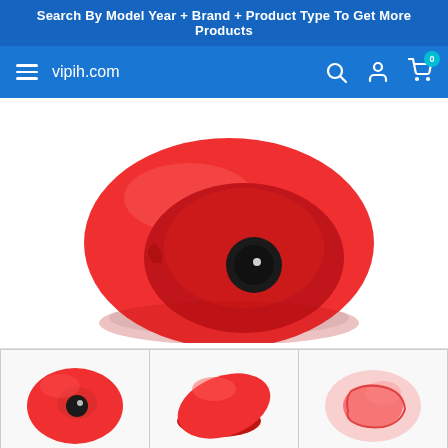Search By Model Year + Brand + Product Type To Get More Products
[Figure (screenshot): Navigation bar with hamburger menu, vipih.com site name, search icon, user account icon, and cart icon with 0 badge on blue background]
[Figure (photo): Red silicone oval/donut-shaped product photographed on white background, featuring a bowl-like concave center with a black circular button in the middle]
[Figure (photo): Three thumbnail images of the same red silicone product from different angles]